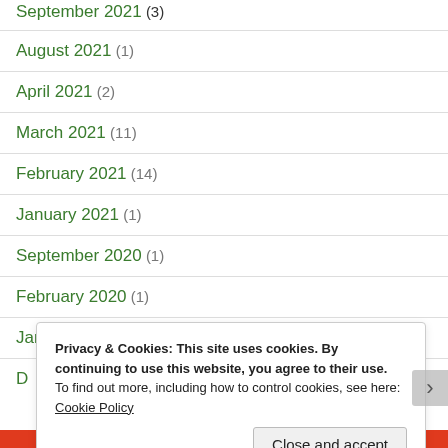September 2021 (3)
August 2021 (1)
April 2021 (2)
March 2021 (11)
February 2021 (14)
January 2021 (1)
September 2020 (1)
February 2020 (1)
January 2020 (6)
Privacy & Cookies: This site uses cookies. By continuing to use this website, you agree to their use. To find out more, including how to control cookies, see here: Cookie Policy
Close and accept